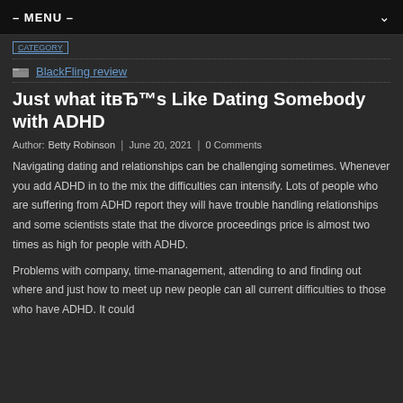– MENU –
BlackFling review
Just what itвЂ™s Like Dating Somebody with ADHD
Author: Betty Robinson | June 20, 2021 | 0 Comments
Navigating dating and relationships can be challenging sometimes. Whenever you add ADHD in to the mix the difficulties can intensify. Lots of people who are suffering from ADHD report they will have trouble handling relationships and some scientists state that the divorce proceedings price is almost two times as high for people with ADHD.
Problems with company, time-management, attending to and finding out where and just how to meet up new people can all current difficulties to those who have ADHD. It could